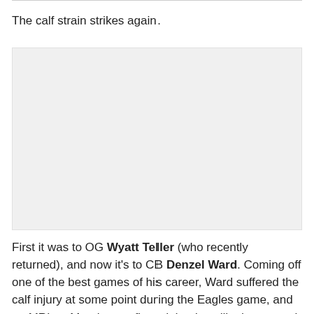The calf strain strikes again.
[Figure (photo): Large image placeholder (light gray box) — image content not visible]
First it was to OG Wyatt Teller (who recently returned), and now it's to CB Denzel Ward. Coming off one of the best games of his career, Ward suffered the calf injury at some point during the Eagles game, and an MRI on Monday confirmed that he will miss several weeks of